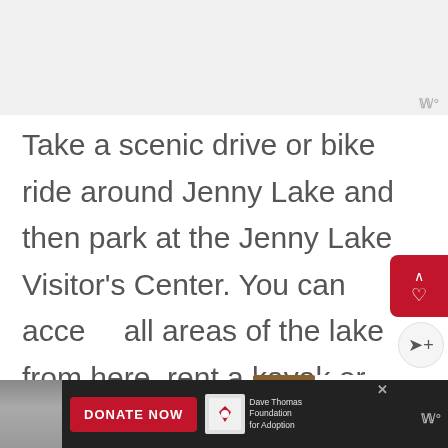[Figure (photo): Top image placeholder, light gray background representing a scenic photo]
Take a scenic drive or bike ride around Jenny Lake and then park at the Jenny Lake Visitor's Center. You can access all areas of the lake from here, rent a kayak or boat, or obtain any backcountry permits, like those for Hurricane Pass or Cascade Canyon.
[Figure (screenshot): What's Next sidebar: thumbnail of a building with text 'WHAT'S NEXT → 16 ABSOLUTE BEST THING...']
[Figure (screenshot): Bottom advertisement banner: Dave Thomas Foundation for Adoption with Donate Now button]